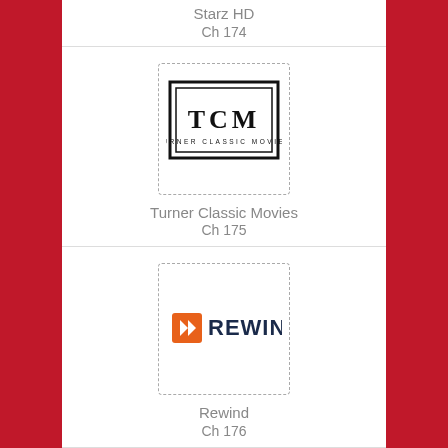Starz HD
Ch 174
[Figure (logo): TCM Turner Classic Movies logo — black serif text 'TCM' in a rectangular border, with 'TURNER CLASSIC MOVIES' below in small caps]
Turner Classic Movies
Ch 175
[Figure (logo): Rewind logo — orange square with rewind arrow icon followed by 'REWIND' in dark navy bold text]
Rewind
Ch 176
[Figure (logo): Silver Screen Classics logo — dark navy illustration of a movie theater marquee with 'SILVER SCREEN CLASSICS' text]
Silver Screen Classics